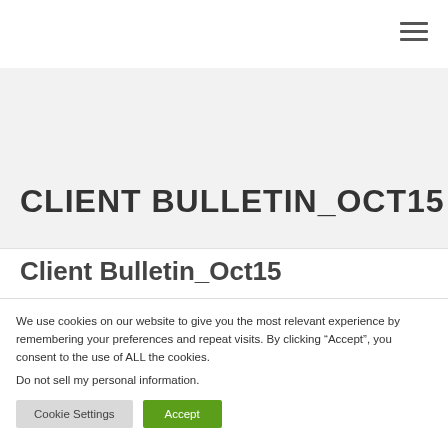CLIENT BULLETIN_OCT15
Client Bulletin_Oct15
We use cookies on our website to give you the most relevant experience by remembering your preferences and repeat visits. By clicking “Accept”, you consent to the use of ALL the cookies.
Do not sell my personal information.